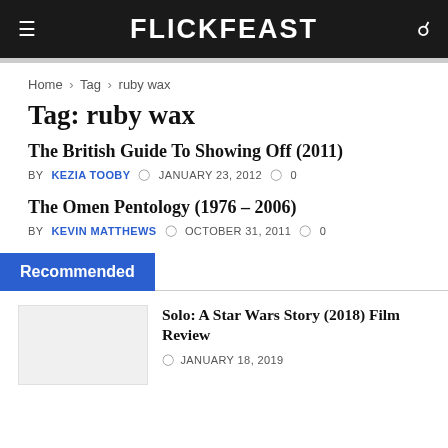FLICKFEAST
Home > Tag > ruby wax
Tag: ruby wax
The British Guide To Showing Off (2011)
BY KEZIA TOOBY  JANUARY 23, 2012  0
The Omen Pentology (1976 – 2006)
BY KEVIN MATTHEWS  OCTOBER 31, 2011  0
Recommended
Solo: A Star Wars Story (2018) Film Review
JANUARY 18, 2019